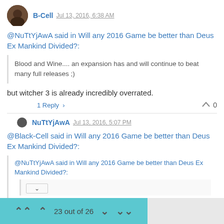B-Cell Jul 13, 2016, 6:38 AM
@NuTtYjAwA said in Will any 2016 Game be better than Deus Ex Mankind Divided?:
Blood and Wine.... an expansion has and will continue to beat many full releases ;)
but witcher 3 is already incredibly overrated.
1 Reply > 0
NuTtYjAwA Jul 13, 2016, 5:07 PM
@Black-Cell said in Will any 2016 Game be better than Deus Ex Mankind Divided?:
@NuTtYjAwA said in Will any 2016 Game be better than Deus Ex Mankind Divided?:
23 out of 26